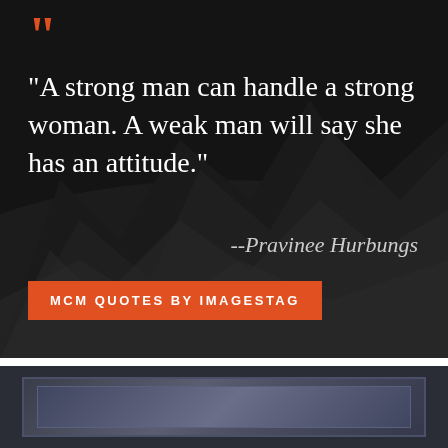[Figure (infographic): Dark mountainous landscape background with quote graphic. Orange quotation mark icon at top left. White serif quote text reading: "A strong man can handle a strong woman. A weak man will say she has an attitude." Attribution in italic: --Pravinee Hurbungs. Orange rectangular button at bottom left reading MCM QUOTES BY IMAGESTAG.]
"A strong man can handle a strong woman. A weak man will say she has an attitude."
--Pravinee Hurbungs
MCM QUOTES BY IMAGESTAG
[Figure (photo): Bottom section showing a framed dark bluish-grey atmospheric image, partially visible, with a double-border frame.]